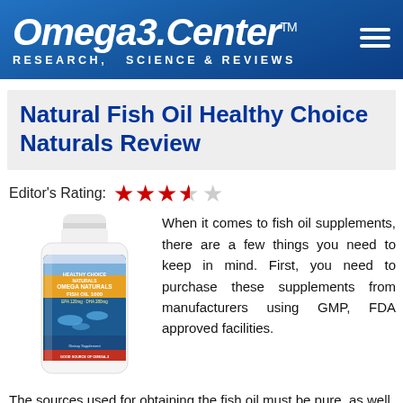Omega3.Center™ RESEARCH, SCIENCE & REVIEWS
Natural Fish Oil Healthy Choice Naturals Review
Editor's Rating: ★★★½☆
[Figure (photo): Product bottle of Omega Naturals Fish Oil 1000 dietary supplement]
When it comes to fish oil supplements, there are a few things you need to keep in mind. First, you need to purchase these supplements from manufacturers using GMP, FDA approved facilities. The sources used for obtaining the fish oil must be pure, as well, since farm raised fish tends to contain